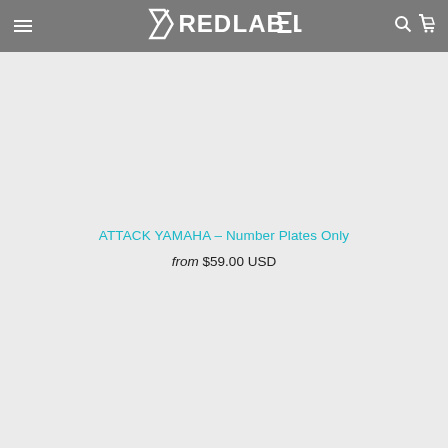RED LABEL
ATTACK YAMAHA – Number Plates Only
from $59.00 USD